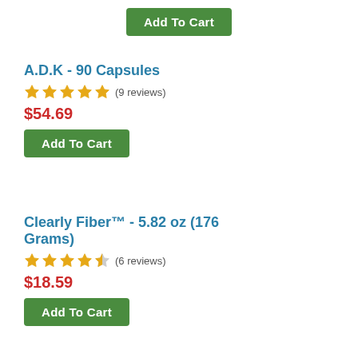Add To Cart
A.D.K - 90 Capsules
★★★★★ (9 reviews)
$54.69
Add To Cart
Clearly Fiber™ - 5.82 oz (176 Grams)
★★★★½ (6 reviews)
$18.59
Add To Cart